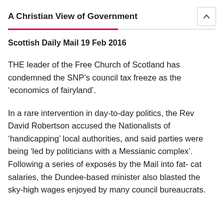A Christian View of Government
Scottish Daily Mail 19 Feb 2016
THE leader of the Free Church of Scotland has condemned the SNP’s council tax freeze as the ‘economics of fairyland’.
In a rare intervention in day-to-day politics, the Rev David Robertson accused the Nationalists of ‘handicapping’ local authorities, and said parties were being ‘led by politicians with a Messianic complex’. Following a series of exposés by the Mail into fat- cat salaries, the Dundee-based minister also blasted the sky-high wages enjoyed by many council bureaucrats.